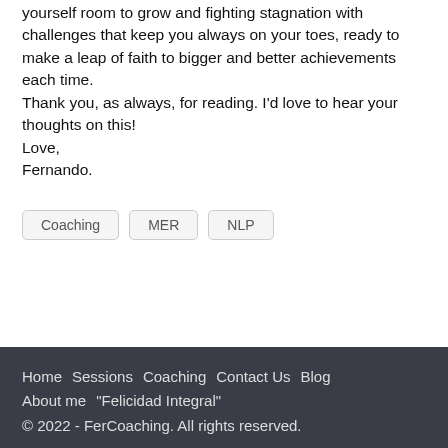yourself room to grow and fighting stagnation with challenges that keep you always on your toes, ready to make a leap of faith to bigger and better achievements each time.
Thank you, as always, for reading. I'd love to hear your thoughts on this!
Love,
Fernando.
Coaching
MER
NLP
Home   Sessions   Coaching   Contact Us   Blog   About me   "Felicidad Integral"
© 2022 - FerCoaching. All rights reserved.